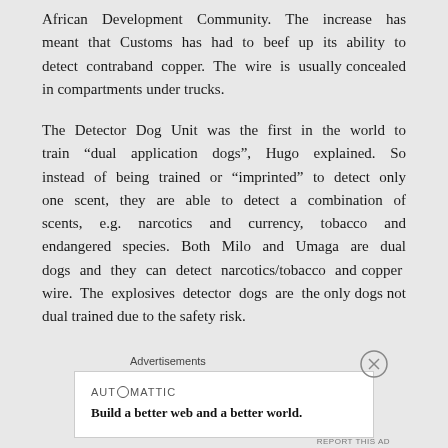African Development Community. The increase has meant that Customs has had to beef up its ability to detect contraband copper. The wire is usually concealed in compartments under trucks.
The Detector Dog Unit was the first in the world to train “dual application dogs”, Hugo explained. So instead of being trained or “imprinted” to detect only one scent, they are able to detect a combination of scents, e.g. narcotics and currency, tobacco and endangered species. Both Milo and Umaga are dual dogs and they can detect narcotics/tobacco and copper wire. The explosives detector dogs are the only dogs not dual trained due to the safety risk.
Advertisements
[Figure (other): Advertisement banner: AUTOMATTIC logo with tagline 'Build a better web and a better world.']